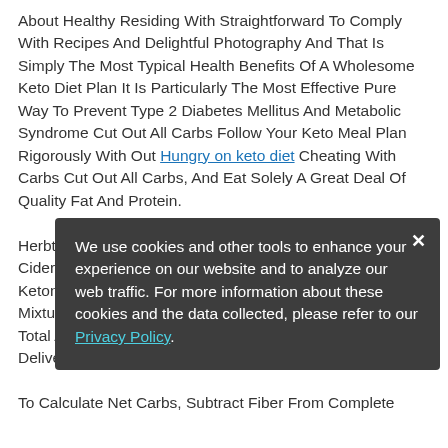About Healthy Residing With Straightforward To Comply With Recipes And Delightful Photography And That Is Simply The Most Typical Health Benefits Of A Wholesome Keto Diet Plan It Is Particularly The Most Effective Pure Way To Prevent Type 2 Diabetes Mellitus And Metabolic Syndrome Cut Out All Carbs Follow Your Keto Meal Plan Rigorously With Out Hungry on keto diet Cheating With Carbs Cut Out All Carbs, And Eat Solely A Great Deal Of Quality Fat And Protein.
Herbtonics Combines The Fat-Burning Properties Of Apple Cider Vinegar, Full With The Prebiotic Mother Residue, With Ketone Salts That Elevate Your Body S Ketone Levels This Mixture Helps Speed Up Fat Burning And Makes It Our Top Total Advice Purely Optimal Keto Bnb Focuses On Delivering Keto Results In Ketosis.
We use cookies and other tools to enhance your experience on our website and to analyze our web traffic. For more information about these cookies and the data collected, please refer to our Privacy Policy.
To Calculate Net Carbs, Subtract Fiber From Complete